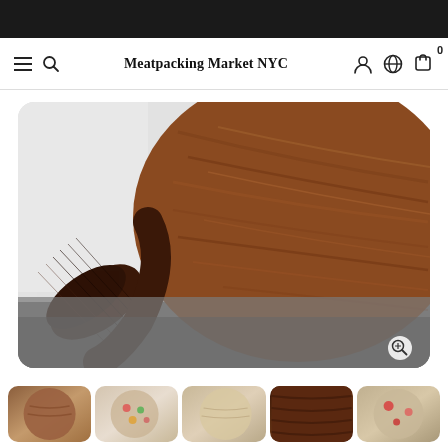Meatpacking Market NYC
[Figure (photo): Close-up of a round walnut wood cutting board or paddle with a textured dark wood handle, resting on a grey surface. The wood grain of the circular board is prominently visible in warm brown tones.]
[Figure (photo): Thumbnail strip showing 5 product images of a walnut wood board/paddle from different angles and with various items on it.]